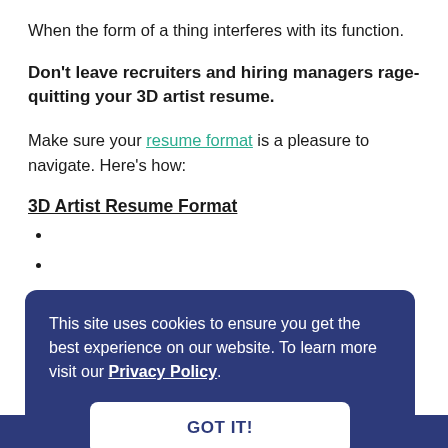When the form of a thing interferes with its function.
Don't leave recruiters and hiring managers rage-quitting your 3D artist resume.
Make sure your resume format is a pleasure to navigate. Here's how:
3D Artist Resume Format
[Figure (screenshot): Cookie consent banner overlay with dark blue background. Text reads: 'This site uses cookies to ensure you get the best experience on our website. To learn more visit our Privacy Policy.' with a 'GOT IT!' button.]
you're on full-time or part-time contracts,